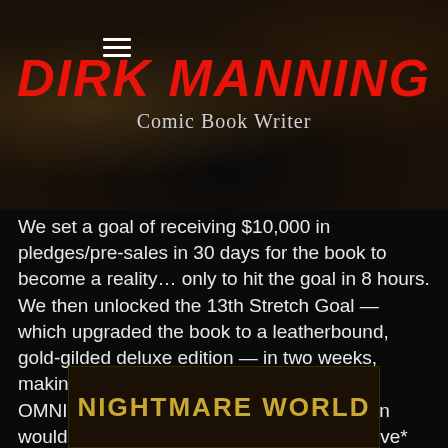DIRK MANNING — Comic Book Writer
We set a goal of receiving $10,000 in pledges/pre-sales in 30 days for the book to become a reality… only to hit the goal in 8 hours. We then unlocked the 13th Stretch Goal — which upgraded the book to a leatherbound, gold-gilded deluxe edition — in two weeks, making it that every NIGHTMARE WORLD OMNIBUS purchased through the campaign would now become the *Kickstarter Exclusive* NIGHTMARE WORLD BIBLE variant.
[Figure (logo): NIGHTMARE WORLD gold text logo on dark background banner]